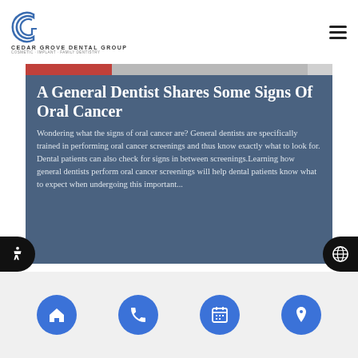Cedar Grove Dental Group
[Figure (photo): Partial view of a dental-related image strip at the top of the card]
A General Dentist Shares Some Signs Of Oral Cancer
Wondering what the signs of oral cancer are? General dentists are specifically trained in performing oral cancer screenings and thus know exactly what to look for. Dental patients can also check for signs in between screenings.Learning how general dentists perform oral cancer screenings will help dental patients know what to expect when undergoing this important...
Home | Phone | Calendar | Location navigation buttons